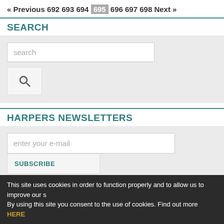« Previous 692 693 694 695 696 697 698 Next »
SEARCH
search (input placeholder)
HARPERS NEWSLETTERS
enter your e-mail (input placeholder)
SUBSCRIBE
MOST READ ARTICLES
This site uses cookies in order to function properly and to allow us to improve our s By using this site you consent to the use of cookies. Find out more HERE